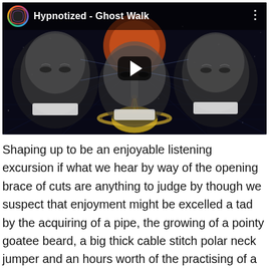[Figure (screenshot): YouTube video thumbnail showing 'Hypnotized - Ghost Walk' with three elderly male faces in black and white against a cosmic/space background with a planet (Saturn), rocket, and orange sun/planet. A play button is visible in the center.]
Shaping up to be an enjoyable listening excursion if what we hear by way of the opening brace of cuts are anything to judge by though we suspect that enjoyment might be excelled a tad by the acquiring of a pipe, the growing of a pointy goatee beard, a big thick cable stitch polar neck jumper and an hours worth of the practising of a thoughtful Maths lecture like stare into the distance. Imminent on the